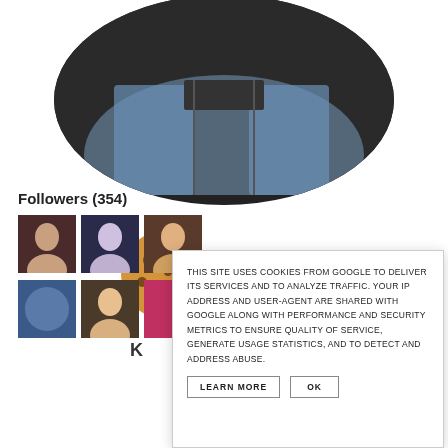[Figure (illustration): Circular banner advertisement with dark background showing text 'TOUPEE STARTER KIT' with a 'SHOP NOW' button, over an image of jeans/clothing]
[Figure (illustration): Cookie blog profile with chocolate chip cookie circle icon and bold 'COOKIES' text heading]
Followers (354)
[Figure (photo): Row of follower profile photo thumbnails]
THIS SITE USES COOKIES FROM GOOGLE TO DELIVER ITS SERVICES AND TO ANALYZE TRAFFIC. YOUR IP ADDRESS AND USER-AGENT ARE SHARED WITH GOOGLE ALONG WITH PERFORMANCE AND SECURITY METRICS TO ENSURE QUALITY OF SERVICE, GENERATE USAGE STATISTICS, AND TO DETECT AND ADDRESS ABUSE.